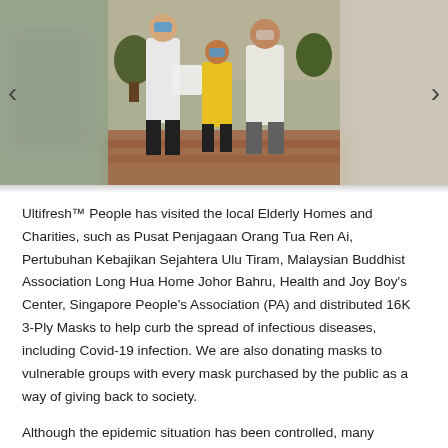[Figure (photo): Three people wearing face masks posing outdoors; person on left in white t-shirt holding items, person in middle in yellow outfit, person on right in white polo shirt. Photo shown in a carousel with blurred edges on left and right.]
Ultifresh™ People has visited the local Elderly Homes and Charities, such as Pusat Penjagaan Orang Tua Ren Ai, Pertubuhan Kebajikan Sejahtera Ulu Tiram, Malaysian Buddhist Association Long Hua Home Johor Bahru, Health and Joy Boy's Center, Singapore People's Association (PA) and distributed 16K 3-Ply Masks to help curb the spread of infectious diseases, including Covid-19 infection. We are also donating masks to vulnerable groups with every mask purchased by the public as a way of giving back to society.
Although the epidemic situation has been controlled, many